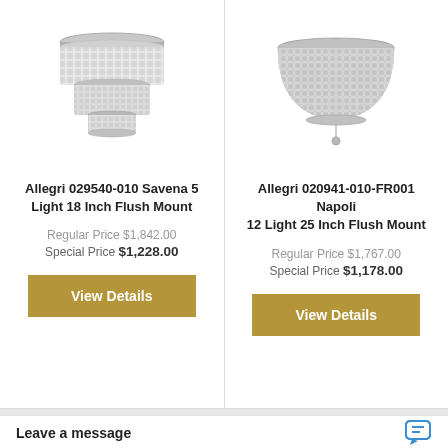[Figure (photo): Crystal flush mount chandelier - Allegri Savena 5 Light 18 Inch, tiered cylindrical crystal design with chrome hardware]
Allegri 029540-010 Savena 5 Light 18 Inch Flush Mount
Regular Price $1,842.00
Special Price $1,228.00
[Figure (photo): Crystal flush mount chandelier - Allegri Napoli 12 Light 25 Inch, dome/bowl shaped crystal mesh design with chrome hardware and pendant drop]
Allegri 020941-010-FR001 Napoli 12 Light 25 Inch Flush Mount
Regular Price $1,767.00
Special Price $1,178.00
Leave a message